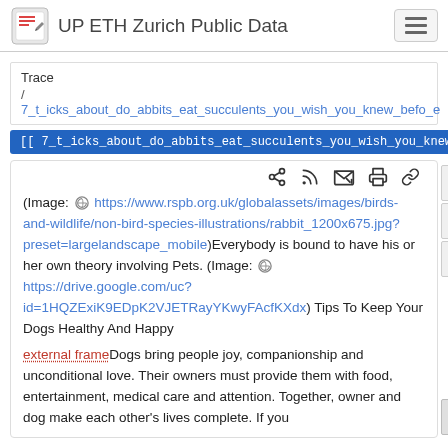UP ETH Zurich Public Data
Trace / 7_t_icks_about_do_abbits_eat_succulents_you_wish_you_knew_befo_e
[[ 7_t_icks_about_do_abbits_eat_succulents_you_wish_you_knew_befo_e ]]
(Image: https://www.rspb.org.uk/globalassets/images/birds-and-wildlife/non-bird-species-illustrations/rabbit_1200x675.jpg?preset=largelandscape_mobile)Everybody is bound to have his or her own theory involving Pets. (Image: https://drive.google.com/uc?id=1HQZExiK9EDpK2VJETRayYKwyFAcfKXdx) Tips To Keep Your Dogs Healthy And Happy

external frameDogs bring people joy, companionship and unconditional love. Their owners must provide them with food, entertainment, medical care and attention. Together, owner and dog make each other's lives complete. If you